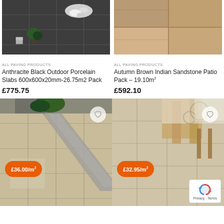[Figure (photo): Anthracite black outdoor porcelain slabs patio with dark grey tiles, white pebbles and green plants]
ALL PAVING PRODUCTS
Anthracite Black Outdoor Porcelain Slabs 600x600x20mm-26.75m2 Pack
£775.75
[Figure (photo): Autumn Brown Indian Sandstone paving slabs close-up showing brown tones]
ALL PAVING PRODUCTS
Autumn Brown Indian Sandstone Patio Pack – 19.10m²
£592.10
[Figure (photo): Beige porcelain patio slabs with drainage channel, price badge £36.00/m²]
[Figure (photo): Beige stone paving in interior/patio setting with wooden furniture, price badge £32.95/m²]